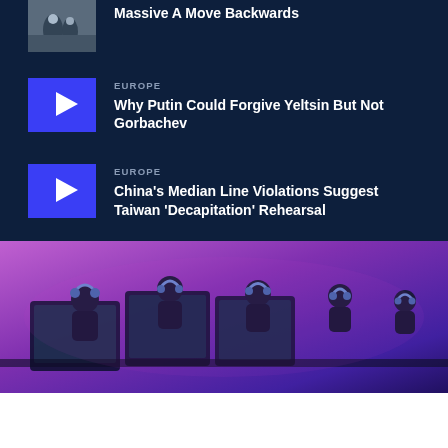Massive A Move Backwards
EUROPE
Why Putin Could Forgive Yeltsin But Not Gorbachev
EUROPE
China's Median Line Violations Suggest Taiwan 'Decapitation' Rehearsal
[Figure (photo): Esports players at computers with headphones in a purple-lit gaming environment]